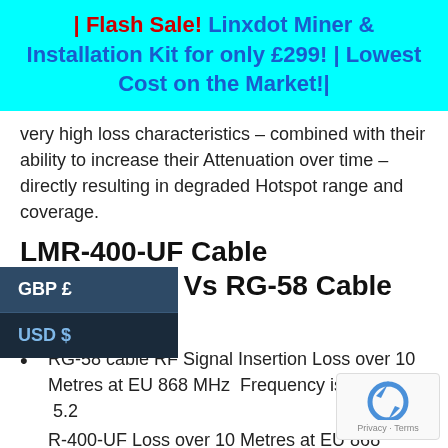| Flash Sale! Linxdot Miner & Installation Kit for only £299! | Lowest Cost on the Market!|
very high loss characteristics – combined with their ability to increase their Attenuation over time – directly resulting in degraded Hotspot range and coverage.
LMR-400-UF Cable Assemblies Vs RG-58 Cable Assemblies
RG-58 cable RF Signal Insertion Loss over 10 Metres at EU 868 MHz  Frequency is nominally  5.2
R-400-UF Loss over 10 Metres at EU 868 Frequency: 1.6dB